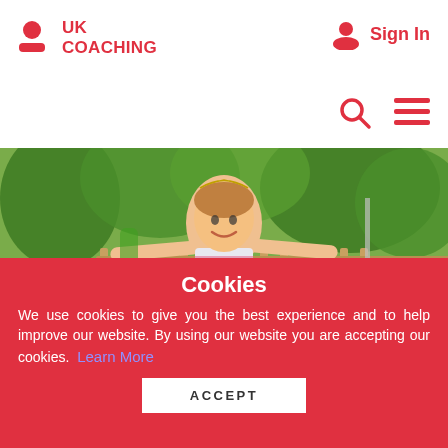UK Coaching | Sign In
[Figure (photo): A young girl balancing a banana on her head with arms outstretched, smiling, outdoors with a wooden fence and trees in the background. Watermark: © Shutterstock]
Cookies
We use cookies to give you the best experience and to help improve our website. By using our website you are accepting our cookies. Learn More
ACCEPT